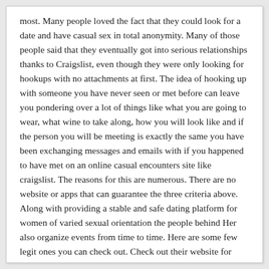most. Many people loved the fact that they could look for a date and have casual sex in total anonymity. Many of those people said that they eventually got into serious relationships thanks to Craigslist, even though they were only looking for hookups with no attachments at first. The idea of hooking up with someone you have never seen or met before can leave you pondering over a lot of things like what you are going to wear, what wine to take along, how you will look like and if the person you will be meeting is exactly the same you have been exchanging messages and emails with if you happened to have met on an online casual encounters site like craigslist. The reasons for this are numerous. There are no website or apps that can guarantee the three criteria above. Along with providing a stable and safe dating platform for women of varied sexual orientation the people behind Her also organize events from time to time. Here are some few legit ones you can check out. Check out their website for more information and give it a go. We have helped